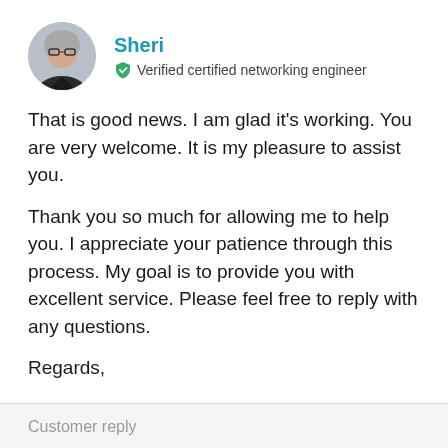[Figure (photo): Circular avatar photo of a woman with glasses and short gray hair wearing a dark jacket]
Sheri
Verified certified networking engineer
That is good news.  I am glad it's working. You are very welcome.  It is my pleasure to assist you.
Thank you so much for allowing me to help you.  I appreciate your patience through this process.  My goal is to provide you with excellent service.  Please feel free to reply with any questions.
Regards,
Sheri
Expert Level Professional Consultant with over 25 years of experience
Customer reply